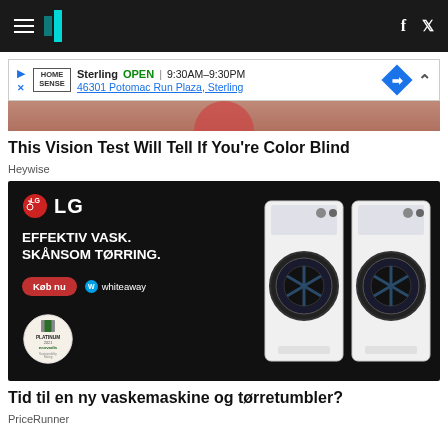HuffPost navigation header with hamburger menu, logo, social icons (f, twitter)
[Figure (screenshot): Advertisement banner: Home Sense Sterling OPEN 9:30AM-9:30PM 46301 Potomac Run Plaza, Sterling with blue diamond navigation arrow icon]
[Figure (photo): Partial top strip of Heywise color blind test article image]
This Vision Test Will Tell If You're Color Blind
Heywise
[Figure (screenshot): LG advertisement: EFFEKTIV VASK. SKÅNSOM TØRRING. with Køb nu button, whiteaway logo, ecovadis 2021 Platinum badge, and two white LG washing machines on dark background]
Tid til en ny vaskemaskine og tørretumbler?
PriceRunner